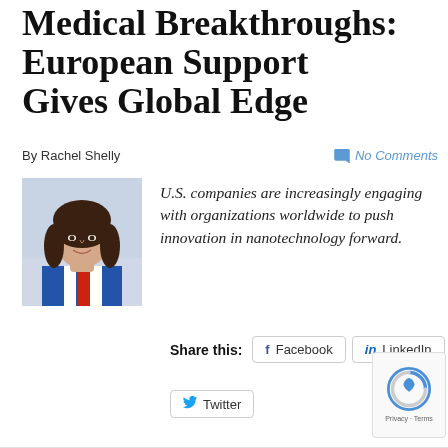Medical Breakthroughs: European Support Gives Global Edge
By Rachel Shelly
No Comments
[Figure (photo): Headshot of Rachel Shelly, a woman with dark shoulder-length hair wearing a blue, white, and red striped top]
U.S. companies are increasingly engaging with organizations worldwide to push innovation in nanotechnology forward.
Share this: Facebook LinkedIn Twitter
[Figure (other): reCAPTCHA badge with Privacy - Terms]